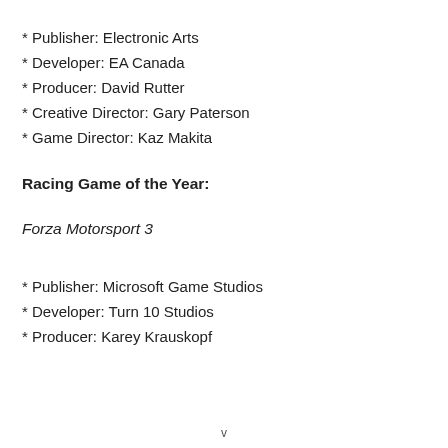* Publisher: Electronic Arts
* Developer: EA Canada
* Producer: David Rutter
* Creative Director: Gary Paterson
* Game Director: Kaz Makita
Racing Game of the Year:
Forza Motorsport 3
* Publisher: Microsoft Game Studios
* Developer: Turn 10 Studios
* Producer: Karey Krauskopf
v